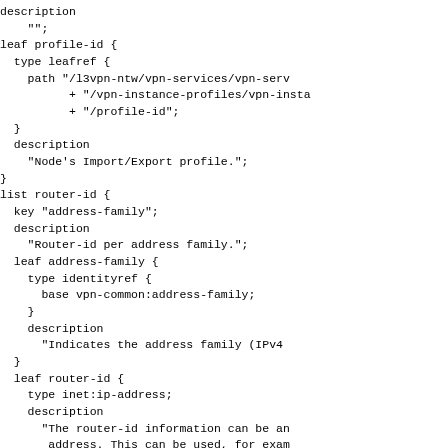description
    "";
leaf profile-id {
  type leafref {
    path "/l3vpn-ntw/vpn-services/vpn-serv
          + "/vpn-instance-profiles/vpn-insta
          + "/profile-id";
  }
  description
    "Node's Import/Export profile.";
}
list router-id {
  key "address-family";
  description
    "Router-id per address family.";
  leaf address-family {
    type identityref {
      base vpn-common:address-family;
    }
    description
      "Indicates the address family (IPv4
  }
  leaf router-id {
    type inet:ip-address;
    description
      "The router-id information can be an
       address. This can be used, for exam
       configure an IPv6 address as a rout
       when such capability is supported b
       routers. In such case, the configur